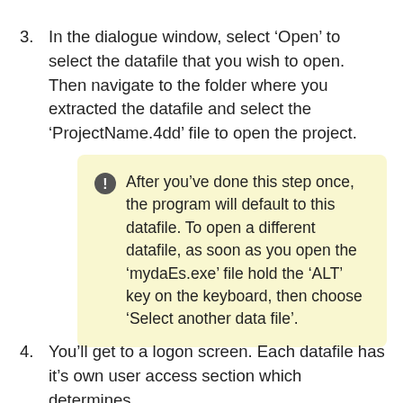3. In the dialogue window, select ‘Open’ to select the datafile that you wish to open. Then navigate to the folder where you extracted the datafile and select the ‘ProjectName.4dd’ file to open the project.
After you’ve done this step once, the program will default to this datafile. To open a different datafile, as soon as you open the ‘mydaEs.exe’ file hold the ‘ALT’ key on the keyboard, then choose ‘Select another data file’.
4. You’ll get to a logon screen. Each datafile has it’s own user access section which determines